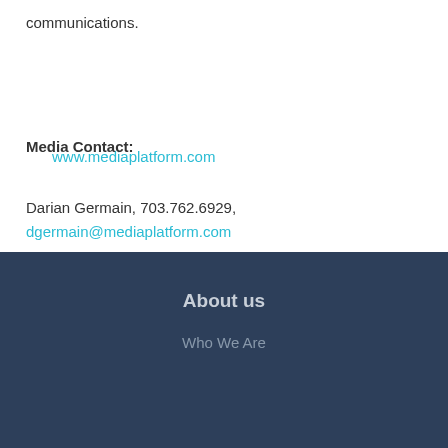communications.
www.mediaplatform.com
Media Contact:
Darian Germain, 703.762.6929,
dgermain@mediaplatform.com
[Figure (other): Share bar with email, Facebook, Twitter, and LinkedIn icons]
About us
Who We Are